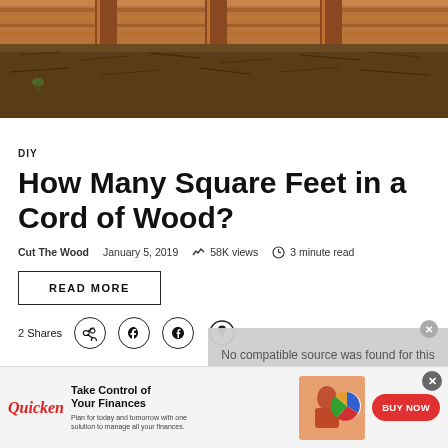[Figure (photo): Photo of a wooden raised bed or deck frame structure with soil/mulch ground visible underneath]
DIY
How Many Square Feet in a Cord of Wood?
Cut The Wood   January 5, 2019   58K views   3 minute read
READ MORE
2 Shares
[Figure (other): No compatible source was found for this media. Video placeholder overlay.]
Take Control of Your Finances
Plan for today and tomorrow with one solution to manage all your finances.
Quicken   BUY NOW